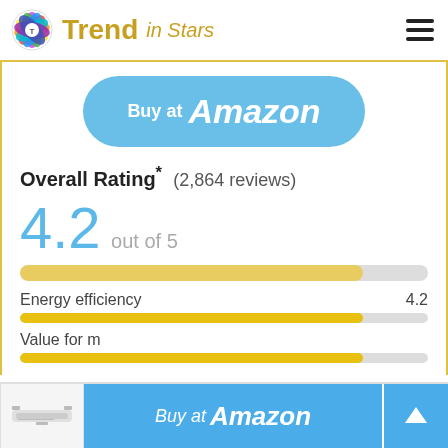Trend in Stars
[Figure (screenshot): Buy at Amazon button (sky blue rounded pill button)]
Overall Rating* (2,864 reviews)
4.2 out of 5
[Figure (other): Rating progress bar showing approximately 84% fill in yellow]
Energy efficiency  4.2
[Figure (other): Energy efficiency progress bar showing approximately 84% fill in gold]
Value for m...
[Figure (screenshot): Bottom overlay with product image thumbnail and Buy at Amazon button]